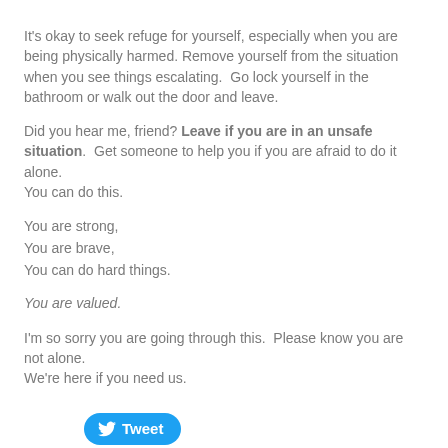It's okay to seek refuge for yourself, especially when you are being physically harmed. Remove yourself from the situation when you see things escalating.  Go lock yourself in the bathroom or walk out the door and leave.
Did you hear me, friend? Leave if you are in an unsafe situation.  Get someone to help you if you are afraid to do it alone.
You can do this.
You are strong,
You are brave,
You can do hard things.
You are valued.
I'm so sorry you are going through this.  Please know you are not alone.
We're here if you need us.
[Figure (other): Twitter Tweet button]